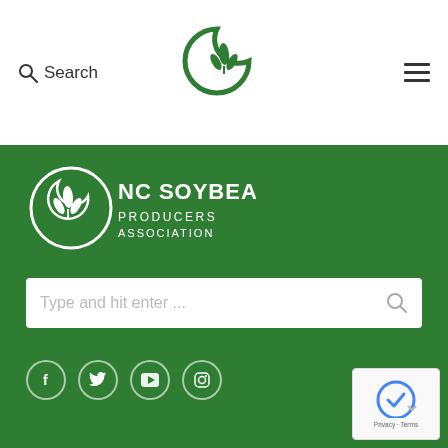Search | NC Soybean Producers Association | Navigation
[Figure (logo): NC Soybean Producers Association leaf logo in green circle, shown in header]
[Figure (logo): NC Soybean Producers Association full logo with text: NC SOYBEAN PRODUCERS ASSOCIATION, white on green background]
Type and hit enter ...
[Figure (infographic): Social media icons: Facebook, Twitter, YouTube, Instagram — white icons on dark green circular buttons]
[Figure (other): reCAPTCHA badge bottom right with Privacy and Terms links]